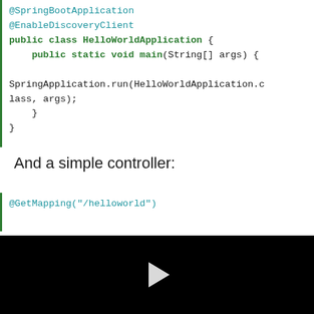@SpringBootApplication
@EnableDiscoveryClient
public class HelloWorldApplication {
    public static void main(String[] args) {

SpringApplication.run(HelloWorldApplication.class, args);
    }
}
And a simple controller:
@GetMapping("/helloworld")
[Figure (screenshot): Black video player area with a white play button triangle in the center]